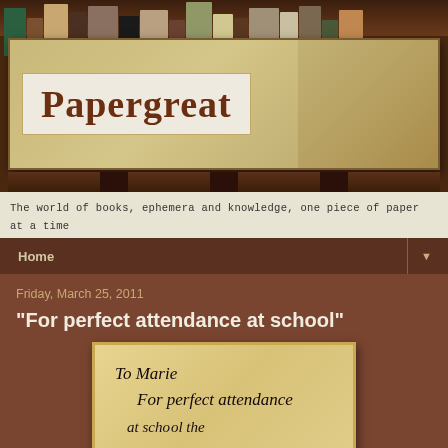[Figure (photo): Papergreat blog header image showing a decorative sign with the word 'Papergreat' on a bookshelf background with vintage book spines]
The world of books, ephemera and knowledge, one piece of paper at a time
Home ▼
Friday, March 25, 2011
"For perfect attendance at school"
[Figure (photo): Old handwritten document card reading 'To Marie For perfect attendance [at school]']